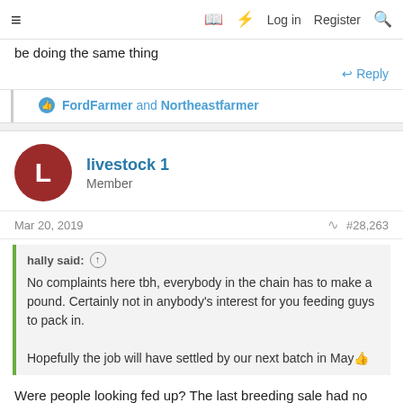≡  Log in  Register
be doing the same thing
↩ Reply
👍 FordFarmer and Northeastfarmer
livestock 1
Member
Mar 20, 2019  #28,263
hally said:
No complaints here tbh, everybody in the chain has to make a pound. Certainly not in anybody's interest for you feeding guys to pack in.
Hopefully the job will have settled by our next batch in May 👍
Were people looking fed up? The last breeding sale had no buzz